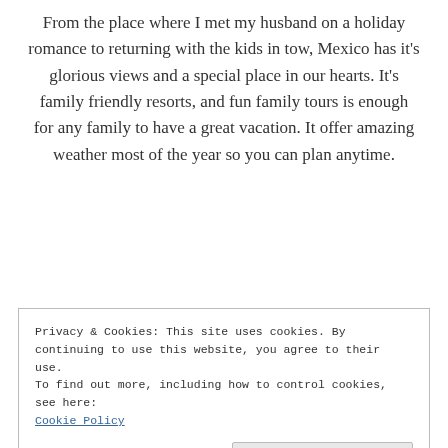From the place where I met my husband on a holiday romance to returning with the kids in tow, Mexico has it's glorious views and a special place in our hearts. It's family friendly resorts, and fun family tours is enough for any family to have a great vacation. It offer amazing weather most of the year so you can plan anytime.
Spain
Privacy & Cookies: This site uses cookies. By continuing to use this website, you agree to their use.
To find out more, including how to control cookies, see here:
Cookie Policy
Close and accept